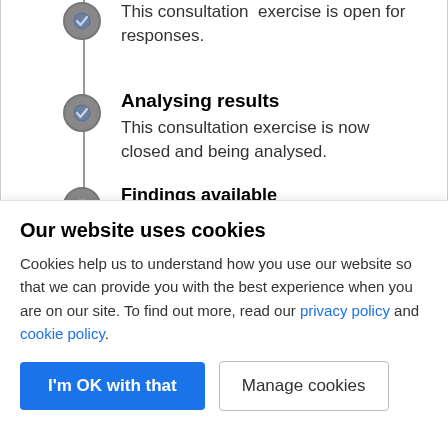Consultation open
This consultation exercise is open for responses.
Analysing results
This consultation exercise is now closed and being analysed.
Findings available
Our website uses cookies
Cookies help us to understand how you use our website so that we can provide you with the best experience when you are on our site. To find out more, read our privacy policy and cookie policy.
I'm OK with that | Manage cookies